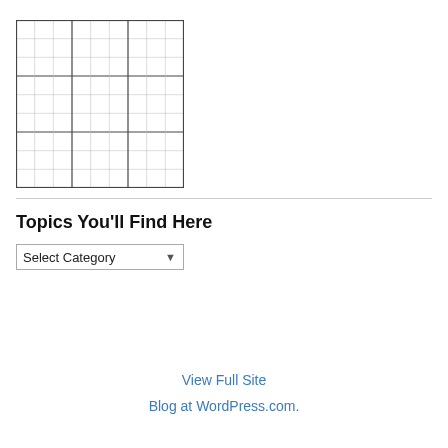[Figure (other): A grid/graph paper image showing a 9x9 sudoku-style or coordinate grid with thin lines forming small squares, grouped into larger 3x3 blocks by thicker lines.]
Topics You'll Find Here
Select Category
View Full Site
Blog at WordPress.com.